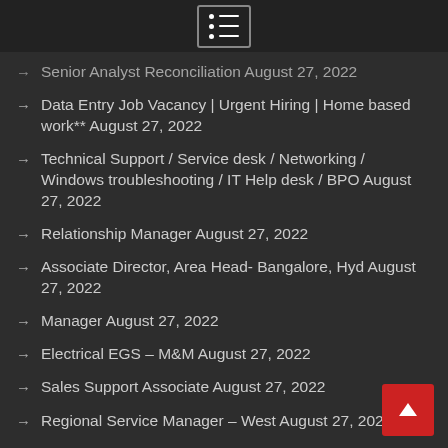Senior Analyst Reconciliation August 27, 2022
Data Entry Job Vacancy | Urgent Hiring | Home based work** August 27, 2022
Technical Support / Service desk / Networking / Windows troubleshooting / IT Help desk / BPO August 27, 2022
Relationship Manager August 27, 2022
Associate Director, Area Head- Bangalore, Hyd August 27, 2022
Manager August 27, 2022
Electrical EGS – M&M August 27, 2022
Sales Support Associate August 27, 2022
Regional Service Manager – West August 27, 2022
Manager – UX August 27, 2022